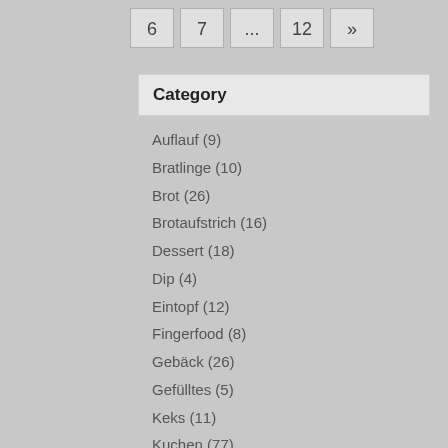6
7
...
12
»
Category
Auflauf (9)
Bratlinge (10)
Brot (26)
Brotaufstrich (16)
Dessert (18)
Dip (4)
Eintopf (12)
Fingerfood (8)
Gebäck (26)
Gefülltes (5)
Keks (11)
Kuchen (77)
Nudeln (21)
Pesto (8)
Pfannengericht (12)
Pizza (9)
Quiche (4)
Reis (5)
Salat (8)